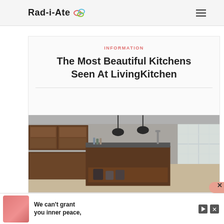Rad-i-Ate
INFORMATION
The Most Beautiful Kitchens Seen At LivingKitchen
[Figure (photo): Modern kitchen with dark wood cabinets, island counter, pendant lights, and large windows]
We can't grant you inner peace,